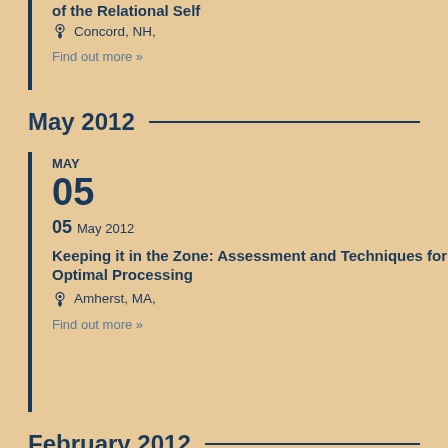of the Relational Self
Concord, NH,
Find out more »
May 2012
MAY
05
05 May 2012
Keeping it in the Zone: Assessment and Techniques for Optimal Processing
Amherst, MA,
Find out more »
February 2012